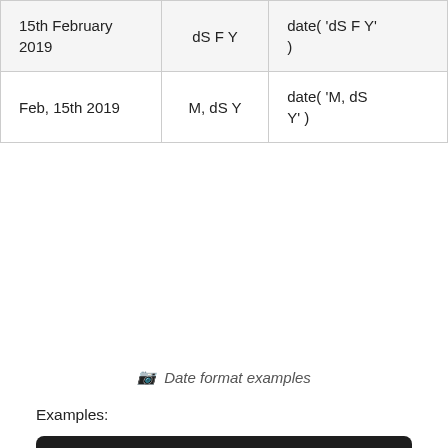| 15th February 2019 | dS F Y | date( 'dS F Y' ) |
| Feb, 15th 2019 | M, dS Y | date( 'M, dS Y' ) |
Date format examples
Examples:
echo date( 'd/m/y' ); // 15/02/19
echo date( 'd-M-Y' ); // 15-Feb-2019
echo date( 'd F Y' ); // 15 February 2019
echo date( 'dS F Y' ); // 15th February 2019
echo date( 'M, dS Y' ); // Feb, 15th 2019